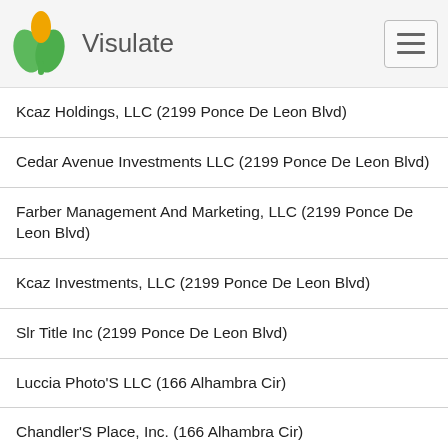Visulate
Kcaz Holdings, LLC (2199 Ponce De Leon Blvd)
Cedar Avenue Investments LLC (2199 Ponce De Leon Blvd)
Farber Management And Marketing, LLC (2199 Ponce De Leon Blvd)
Kcaz Investments, LLC (2199 Ponce De Leon Blvd)
Slr Title Inc (2199 Ponce De Leon Blvd)
Luccia Photo'S LLC (166 Alhambra Cir)
Chandler'S Place, Inc. (166 Alhambra Cir)
Eguison Group, Inc. (150 Alhambra Circle Ste 1150)
Lani Property Holdings, Inc. (132 Minorca Ave)
Kristan Rentals Ltd Inc. (132 Minorca Ave)